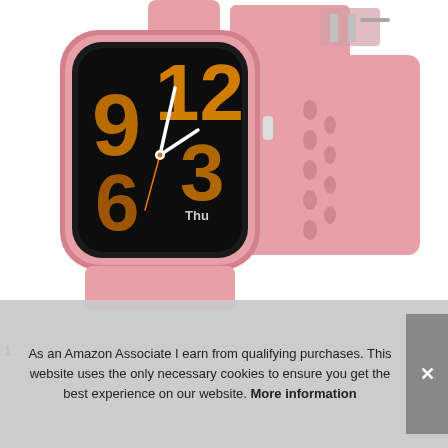[Figure (photo): Product photo of a pink smartwatch with black face displaying large orange numerals 9, 12, 3, 6 and clock hands showing approximately 10:10, with 'Thu' displayed, and a pink silicone band with a silver buckle clasp]
As an Amazon Associate I earn from qualifying purchases. This website uses the only necessary cookies to ensure you get the best experience on our website. More information